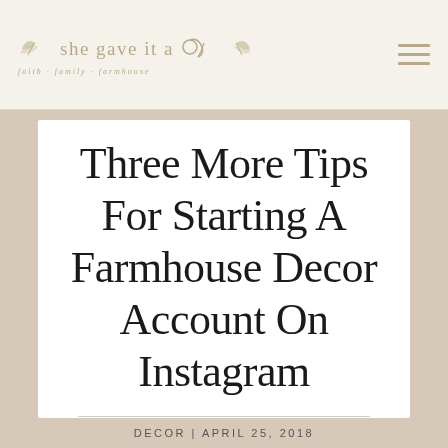SHE GAVE IT A GO — faith · family · farmhouse
Three More Tips For Starting A Farmhouse Decor Account On Instagram
DECOR | APRIL 25, 2018